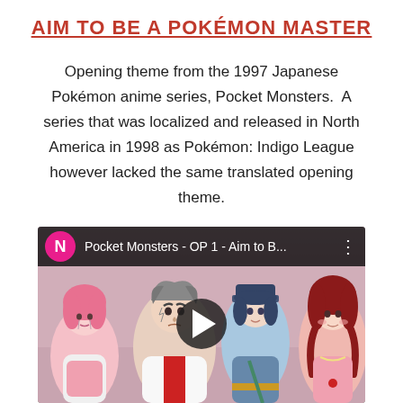Aim to Be a Pokémon Master
Opening theme from the 1997 Japanese Pokémon anime series, Pocket Monsters.  A series that was localized and released in North America in 1998 as Pokémon: Indigo League however lacked the same translated opening theme.
[Figure (screenshot): YouTube video thumbnail/player showing 'Pocket Monsters - OP 1 - Aim to B...' with a pink channel icon showing 'N', three-dot menu, play button overlay, and anime characters (pink-haired girl, stern older man in white coat, blue-haired character in police uniform, red-haired girl) against a pink/purple background.]